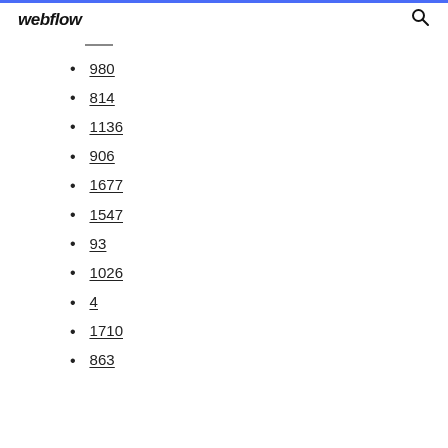webflow
980
814
1136
906
1677
1547
93
1026
4
1710
863